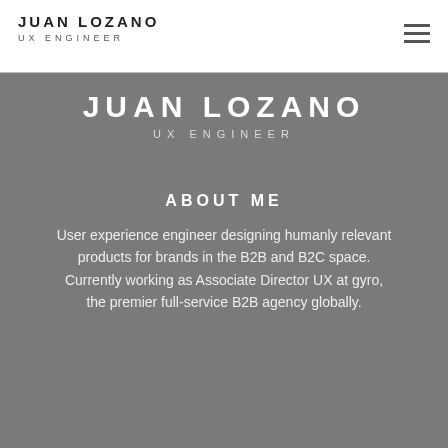JUAN LOZANO UX ENGINEER
JUAN LOZANO
UX ENGINEER
ABOUT ME
User experience engineer designing humanly relevant products for brands in the B2B and B2C space. Currently working as Associate Director UX at gyro, the premier full-service B2B agency globally.